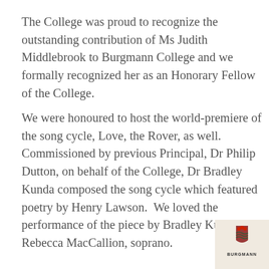The College was proud to recognize the outstanding contribution of Ms Judith Middlebrook to Burgmann College and we formally recognized her as an Honorary Fellow of the College.
We were honoured to host the world-premiere of the song cycle, Love, the Rover, as well. Commissioned by previous Principal, Dr Philip Dutton, on behalf of the College, Dr Bradley Kunda composed the song cycle which featured poetry by Henry Lawson.  We loved the performance of the piece by Bradley Kunda and Rebecca MacCallion, soprano.
[Figure (photo): Partial photo showing the Burgmann College crest and signage (cream/beige background) on the left half, and a person (likely a woman with dark hair) partially visible on the right half against a light wall.]